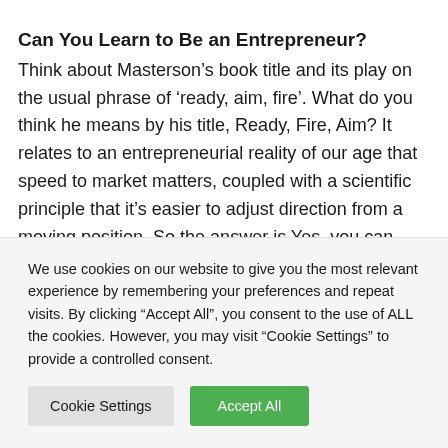Can You Learn to Be an Entrepreneur?
Think about Masterson’s book title and its play on the usual phrase of ‘ready, aim, fire’. What do you think he means by his title, Ready, Fire, Aim? It relates to an entrepreneurial reality of our age that speed to market matters, coupled with a scientific principle that it’s easier to adjust direction from a moving position. So the answer is Yes, you can learn to be an entrepreneur as long as you are so inclined to do what it takes
We use cookies on our website to give you the most relevant experience by remembering your preferences and repeat visits. By clicking “Accept All”, you consent to the use of ALL the cookies. However, you may visit “Cookie Settings” to provide a controlled consent.
Cookie Settings | Accept All